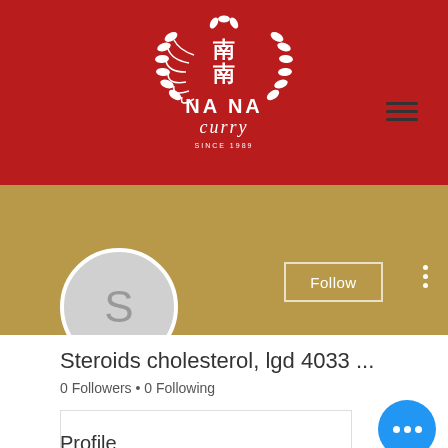[Figure (logo): NA NA curry restaurant logo with Chinese characters and laurel wreath on red background, SINCE 1989]
[Figure (screenshot): Social media profile page for user 'Steroids cholesterol, lgd 4033 ...' with 0 Followers and 0 Following, showing Follow button, avatar with letter S, and a chat bubble icon.]
Steroids cholesterol, lgd 4033 ...
0 Followers • 0 Following
Profile